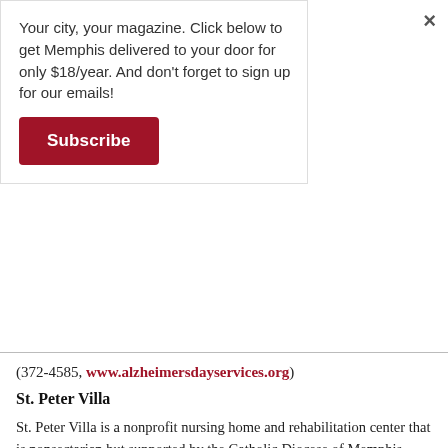Your city, your magazine. Click below to get Memphis delivered to your door for only $18/year. And don't forget to sign up for our emails!
Subscribe
(372-4585, www.alzheimersdayservices.org)
St. Peter Villa
St. Peter Villa is a nonprofit nursing home and rehabilitation center that is nonsectarian but supported by the Catholic Diocese of Memphis. Friendly faces are needed to visit with or “adopt” residents, many of whom have no family or friends nearby. Volunteers can also help by assisting with daily activities, donating gifts, and preparing welcome baskets.
(725-3568, www.cathchar.org/StPeterVilla)